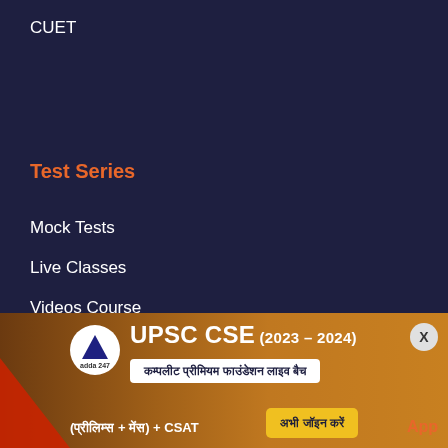CUET
Careers
Franchise
Content Partner
Test Series
Mock Tests
Live Classes
Videos Course
Ebooks
Books
[Figure (infographic): UPSC CSE (2023-2024) advertisement banner for Adda247 Complete Premium Foundation Live Batch (Prelims + Mains) + CSAT with a join now button and App text]